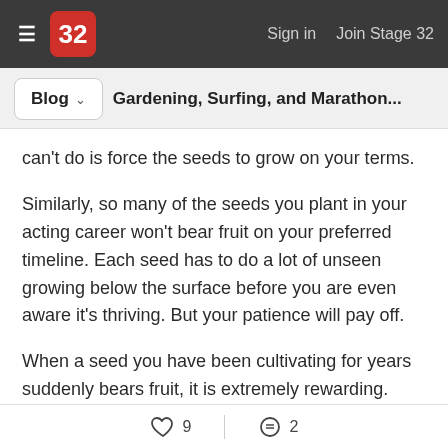≡  32   Sign in   Join Stage 32
Blog ∨   Gardening, Surfing, and Marathon...
can't do is force the seeds to grow on your terms.
Similarly, so many of the seeds you plant in your acting career won't bear fruit on your preferred timeline. Each seed has to do a lot of unseen growing below the surface before you are even aware it's thriving. But your patience will pay off.
When a seed you have been cultivating for years suddenly bears fruit, it is extremely rewarding. Perhaps a Casting Director you've never booked with has
♡ 9   = 2